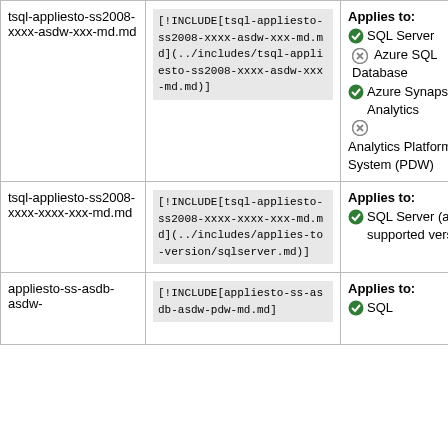| File | Code | Applies to |
| --- | --- | --- |
| tsql-appliesto-ss2008-xxxx-asdw-xxx-md.md | [!INCLUDE[tsql-appliesto-ss2008-xxxx-asdw-xxx-md.md](../includes/tsql-appliesto-ss2008-xxxx-asdw-xxx-md.md)] | Applies to: ✓ SQL Server ✗ Azure SQL Database ✓ Azure Synapse Analytics ✗ Analytics Platform System (PDW) |
| tsql-appliesto-ss2008-xxxx-xxxx-xxx-md.md | [!INCLUDE[tsql-appliesto-ss2008-xxxx-xxxx-xxx-md.md](../includes/applies-to-version/sqlserver.md)] | Applies to: ✓ SQL Server (all supported versions) |
| appliesto-ss-asdb-asdw- | [!INCLUDE[appliesto-ss-asdb-asdw-pdw-md.md] | Applies to: ✓ SQL |